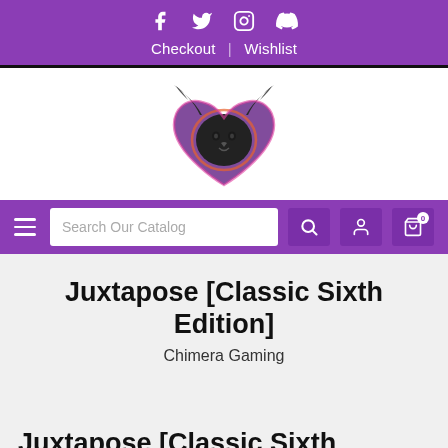Social icons: Facebook, Twitter, Instagram, Discord | Checkout | Wishlist
[Figure (logo): Chimera Gaming logo — dark lion head with horns and serpents, pink/orange glow outline, purple heart shape]
Navigation bar with hamburger menu, Search Our Catalog input, search icon, account icon, cart icon
Juxtapose [Classic Sixth Edition]
Chimera Gaming
Juxtapose [Classic Sixth Edition]